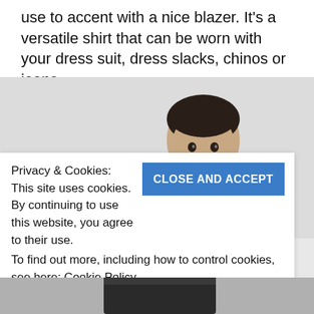use to accent with a nice blazer. It's a versatile shirt that can be worn with your dress suit, dress slacks, chinos or jeans.
[Figure (photo): A man wearing a black turtleneck, photographed from the shoulders up against a light grey background, smiling.]
Privacy & Cookies: This site uses cookies. By continuing to use this website, you agree to their use.
To find out more, including how to control cookies, see here: Cookie Policy
[Figure (photo): Bottom portion of a person wearing dark clothing, partially visible at the bottom of the page.]